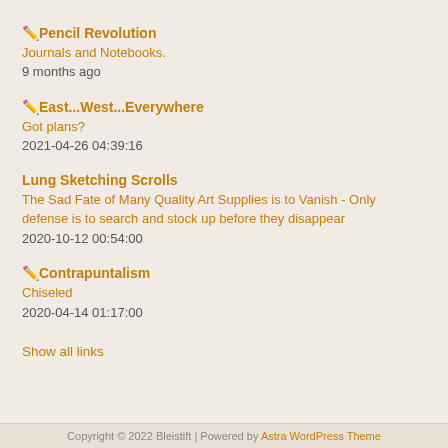✏️ Pencil Revolution
Journals and Notebooks.
9 months ago
✏️ East...West...Everywhere
Got plans?
2021-04-26 04:39:16
Lung Sketching Scrolls
The Sad Fate of Many Quality Art Supplies is to Vanish - Only defense is to search and stock up before they disappear
2020-10-12 00:54:00
✏️ Contrapuntalism
Chiseled
2020-04-14 01:17:00
Show all links
Copyright © 2022 Bleistift | Powered by Astra WordPress Theme